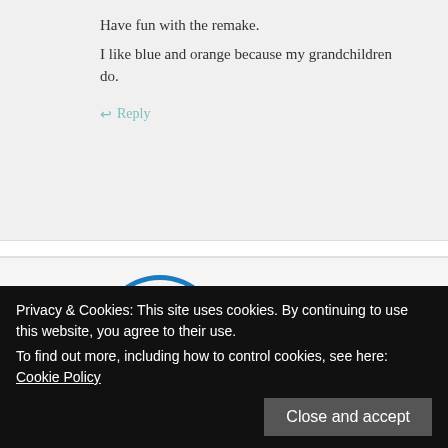Have fun with the remake.
I like blue and orange because my grandchildren do.
↩ Reply
[Figure (illustration): Blue circular power button icon / avatar for user Gill]
Gill says:
August 5, 2016 at 1:18 pm
Privacy & Cookies: This site uses cookies. By continuing to use this website, you agree to their use.
To find out more, including how to control cookies, see here: Cookie Policy
Close and accept